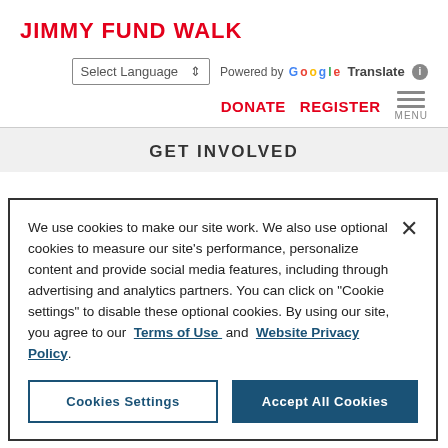JIMMY FUND WALK
Select Language  Powered by Google Translate
DONATE  REGISTER  MENU
GET INVOLVED
We use cookies to make our site work. We also use optional cookies to measure our site's performance, personalize content and provide social media features, including through advertising and analytics partners. You can click on "Cookie settings" to disable these optional cookies. By using our site, you agree to our Terms of Use and Website Privacy Policy.
Cookies Settings  Accept All Cookies